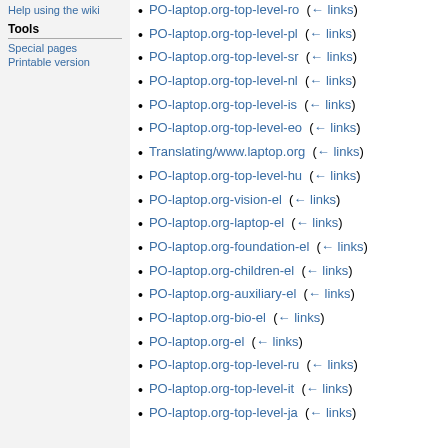Help using the wiki
Tools
Special pages
Printable version
PO-laptop.org-top-level-ro (← links)
PO-laptop.org-top-level-pl (← links)
PO-laptop.org-top-level-sr (← links)
PO-laptop.org-top-level-nl (← links)
PO-laptop.org-top-level-is (← links)
PO-laptop.org-top-level-eo (← links)
Translating/www.laptop.org (← links)
PO-laptop.org-top-level-hu (← links)
PO-laptop.org-vision-el (← links)
PO-laptop.org-laptop-el (← links)
PO-laptop.org-foundation-el (← links)
PO-laptop.org-children-el (← links)
PO-laptop.org-auxiliary-el (← links)
PO-laptop.org-bio-el (← links)
PO-laptop.org-el (← links)
PO-laptop.org-top-level-ru (← links)
PO-laptop.org-top-level-it (← links)
PO-laptop.org-top-level-ja (← links)